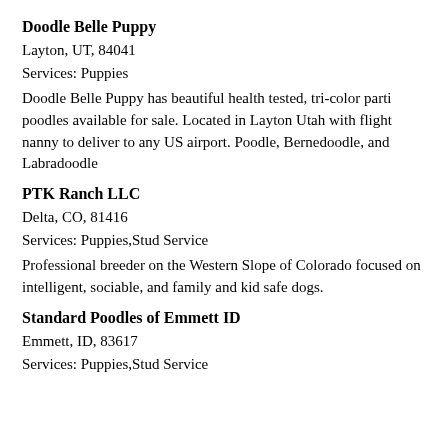Doodle Belle Puppy
Layton, UT, 84041
Services: Puppies
Doodle Belle Puppy has beautiful health tested, tri-color parti poodles available for sale. Located in Layton Utah with flight nanny to deliver to any US airport. Poodle, Bernedoodle, and Labradoodle
PTK Ranch LLC
Delta, CO, 81416
Services: Puppies,Stud Service
Professional breeder on the Western Slope of Colorado focused on intelligent, sociable, and family and kid safe dogs.
Standard Poodles of Emmett ID
Emmett, ID, 83617
Services: Puppies,Stud Service